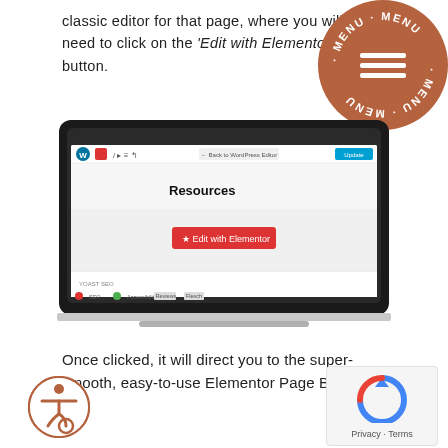classic editor for that page, where you will need to click on the 'Edit with Elementor' button.
[Figure (screenshot): A laptop screenshot showing a WordPress page called 'Resources' with an 'Edit with Elementor' button in the center of the screen.]
Once clicked, it will direct you to the super-smooth, easy-to-use Elementor Page Builder.